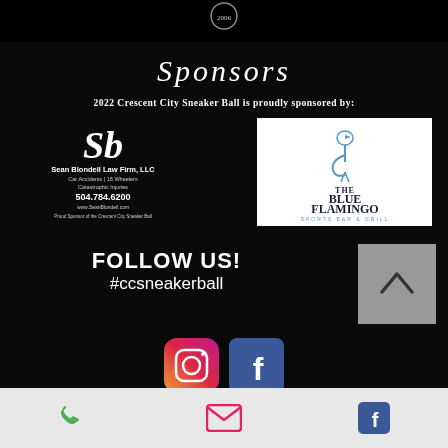Sponsors
2022 Crescent City Sneaker Ball is proudly sponsored by:
[Figure (logo): Sean Blondell Law Firm LLC logo with stylized SB initials, phone 504.784.6200, website www.SeanBlondell.com, Proud Sponsor of the Crescent City Sneaker Ball]
[Figure (logo): The Blue Flamingo Sports Bar & Grill logo with flamingo illustration on white background]
FOLLOW US!
#ccsneakerball
[Figure (infographic): Instagram icon (pink gradient) and Facebook icon (blue)]
Phone, Email, Facebook footer icons